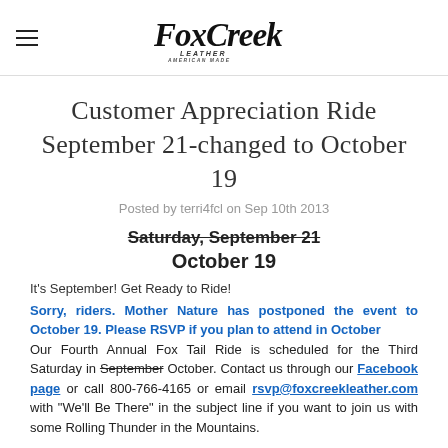Fox Creek Leather
Customer Appreciation Ride September 21-changed to October 19
Posted by terri4fcl on Sep 10th 2013
Saturday, September 21
October 19
It's September! Get Ready to Ride!
Sorry, riders. Mother Nature has postponed the event to October 19. Please RSVP if you plan to attend in October
Our Fourth Annual Fox Tail Ride is scheduled for the Third Saturday in September October. Contact us through our Facebook page or call 800-766-4165 or email rsvp@foxcreekleather.com with "We'll Be There" in the subject line if you want to join us with some Rolling Thunder in the Mountains.